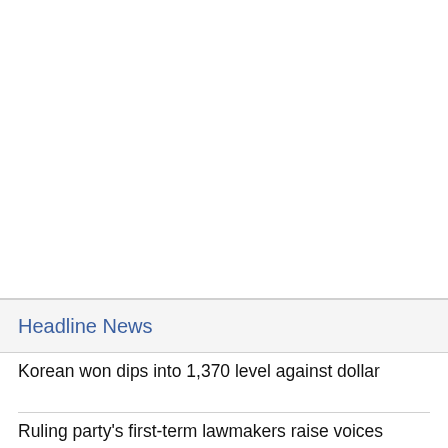Headline News
Korean won dips into 1,370 level against dollar
Ruling party's first-term lawmakers raise voices